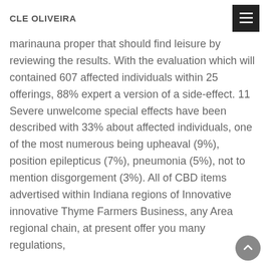CLE OLIVEIRA
marinauna proper that should find leisure by reviewing the results. With the evaluation which will contained 607 affected individuals within 25 offerings, 88% expert a version of a side-effect. 11 Severe unwelcome special effects have been described with 33% about affected individuals, one of the most numerous being upheaval (9%), position epilepticus (7%), pneumonia (5%), not to mention disgorgement (3%). All of CBD items advertised within Indiana regions of Innovative innovative Thyme Farmers Business, any Area regional chain, at present offer you many regulations,